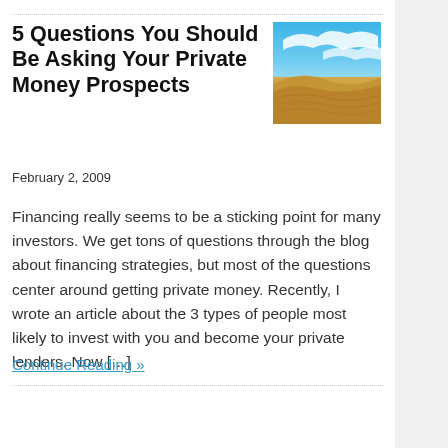5 Questions You Should Be Asking Your Private Money Prospects
February 2, 2009
[Figure (photo): Photo of sand dunes under a blue sky with wispy clouds]
Financing really seems to be a sticking point for many investors. We get tons of questions through the blog about financing strategies, but most of the questions center around getting private money. Recently, I wrote an article about the 3 types of people most likely to invest with you and become your private lenders. Now […]
Continue Reading »